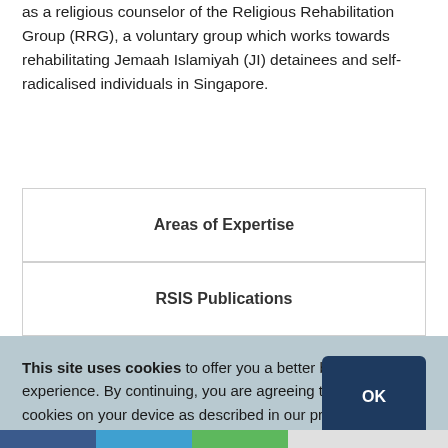as a religious counselor of the Religious Rehabilitation Group (RRG), a voluntary group which works towards rehabilitating Jemaah Islamiyah (JI) detainees and self-radicalised individuals in Singapore.
Areas of Expertise
RSIS Publications
This site uses cookies to offer you a better browsing experience. By continuing, you are agreeing to the use of cookies on your device as described in our privacy policy. Learn more